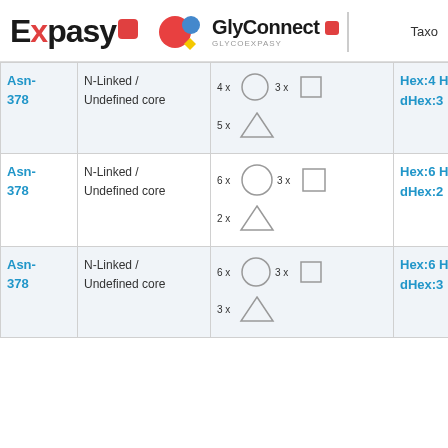Expasy | GlyConnect GLYCOEXPASY
|  | Type | Composition | Formula | Taxon |
| --- | --- | --- | --- | --- |
| Asn-378 | N-Linked / Undefined core | 4x circle 3x square 5x triangle | Hex:4 HexNAc:3 dHex:3 | Taxo... |
| Asn-378 | N-Linked / Undefined core | 6x circle 3x square 2x triangle | Hex:6 HexNAc:3 dHex:2 |  |
| Asn-378 | N-Linked / Undefined core | 6x circle 3x square 3x triangle | Hex:6 HexNAc:3 dHex:3 |  |